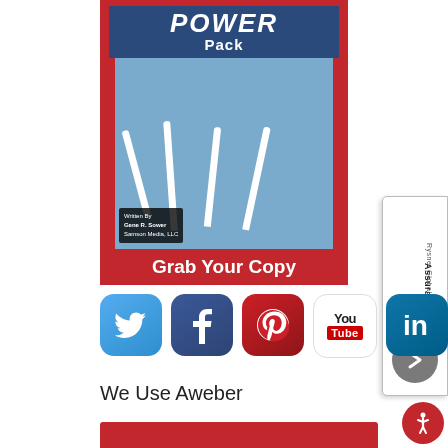[Figure (illustration): Book cover for 'Power Pack' showing rocket-powered figures flying upward on a blue sky background, with red border and 'Grab Your Copy' call to action at bottom]
[Figure (illustration): Partially visible sidebar card: 'Rysnet Global Solutions Assurance Card' with arrow icon]
[Figure (infographic): Row of social media icons: Twitter (bird), Facebook (f), Pinterest (P), YouTube (You Tube), LinkedIn (in)]
We Use Aweber
[Figure (illustration): Partial red banner/bar at bottom (Aweber branding)]